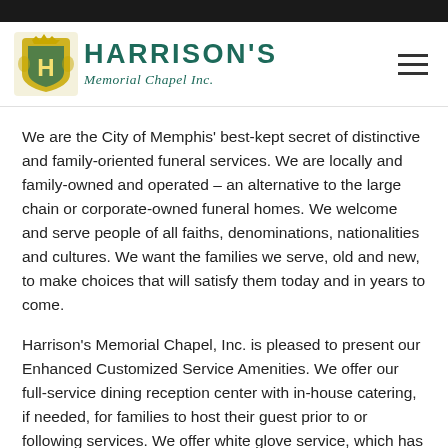[Figure (logo): Harrison's Memorial Chapel Inc. logo with decorative crest icon on the left and the company name in teal/green text]
We are the City of Memphis' best-kept secret of distinctive and family-oriented funeral services. We are locally and family-owned and operated – an alternative to the large chain or corporate-owned funeral homes. We welcome and serve people of all faiths, denominations, nationalities and cultures. We want the families we serve, old and new, to make choices that will satisfy them today and in years to come.
Harrison's Memorial Chapel, Inc. is pleased to present our Enhanced Customized Service Amenities. We offer our full-service dining reception center with in-house catering, if needed, for families to host their guest prior to or following services. We offer white glove service, which has been the Harrison's Tradition for years and years. We offer complimentary beverage and food hor'derves during visitations and funerals. Our building can be converted to host many family aftercare functions, such as